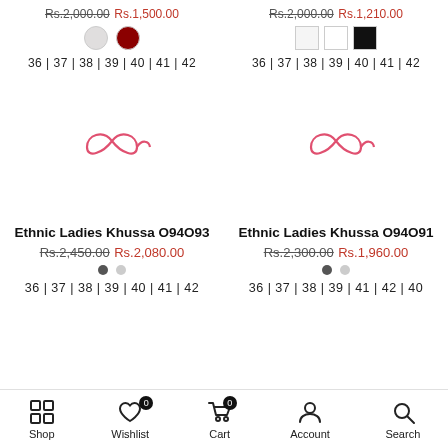Rs.2,000.00 Rs.1,500.00 | Rs.2,000.00 Rs.1,210.00
[Figure (other): Color swatches: light grey circle and dark red circle (left); white square, white square, black square (right)]
36 | 37 | 38 | 39 | 40 | 41 | 42 (both columns)
[Figure (logo): Pink infinity-loop brand logo placeholder (left product)]
[Figure (logo): Pink infinity-loop brand logo placeholder (right product)]
Ethnic Ladies Khussa O94O93
Rs.2,450.00 Rs.2,080.00
Ethnic Ladies Khussa O94O91
Rs.2,300.00 Rs.1,960.00
36 | 37 | 38 | 39 | 40 | 41 | 42 (bottom, both columns)
Shop | Wishlist 0 | Cart 0 | Account | Search